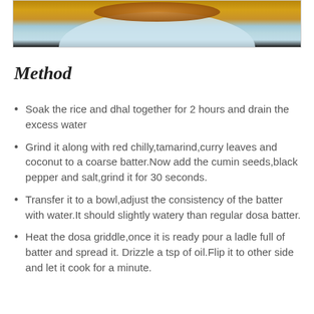[Figure (photo): Partial view of a dosa or flatbread on a white plate against a dark background]
Method
Soak the rice and dhal together for 2 hours and drain the excess water
Grind it along with red chilly,tamarind,curry leaves and coconut to a coarse batter.Now add the cumin seeds,black pepper and salt,grind it for 30 seconds.
Transfer it to a bowl,adjust the consistency of the batter with water.It should slightly watery than regular dosa batter.
Heat the dosa griddle,once it is ready pour a ladle full of batter and spread it. Drizzle a tsp of oil.Flip it to other side and let it cook for a minute.